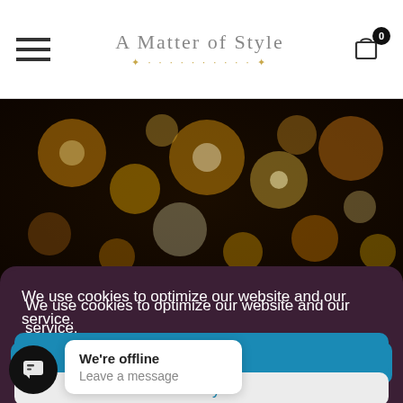A Matter of Style
[Figure (photo): Bokeh background with warm golden/yellow lights blurred circles on dark brown background]
We use cookies to optimize our website and our service.
All cookies
Deny
View preferences
We're offline
Leave a message